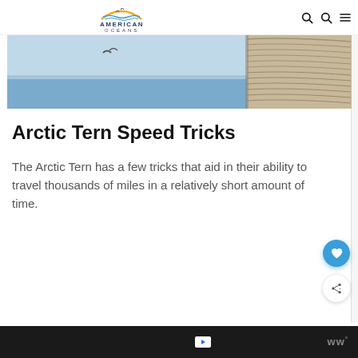American Oceans
[Figure (photo): Aerial or coastal photo showing ocean/sea with a bird in flight on the left and a thatched-roof structure on the right, blue sky background.]
Arctic Tern Speed Tricks
The Arctic Tern has a few tricks that aid in their ability to travel thousands of miles in a relatively short amount of time.
Ad bar with play icon and ww° logo